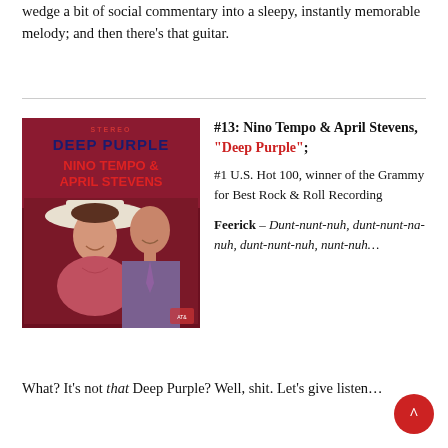wedge a bit of social commentary into a sleepy, instantly memorable melody; and then there's that guitar.
[Figure (illustration): Album cover for 'Deep Purple' by Nino Tempo & April Stevens. Shows 'STEREO' at top in red, 'DEEP PURPLE' in navy blue bold text, 'NINO TEMPO & APRIL STEVENS' in red bold text, and a painted portrait of a woman in a wide-brimmed white hat and a man behind her, on a dark reddish-purple background.]
#13: Nino Tempo & April Stevens, "Deep Purple"; #1 U.S. Hot 100, winner of the Grammy for Best Rock & Roll Recording
Feerick – Dunt-nunt-nuh, dunt-nunt-na-nuh, dunt-nunt-nuh, nunt-nuh…
What? It's not that Deep Purple? Well, shit. Let's give listen…